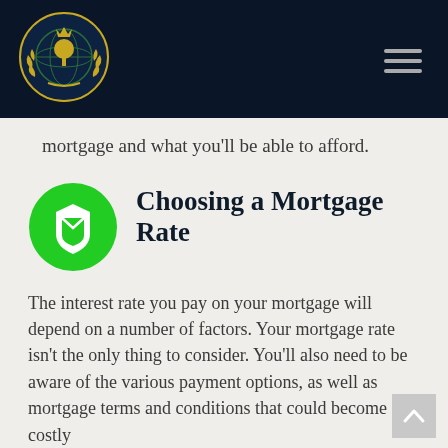[Figure (logo): Gold and green globe with tree emblem, laurel wreath, crown on dark navy header background]
mortgage and what you’ll be able to afford.
[Figure (illustration): Green circle icon with white shield/badge shape inside]
Choosing a Mortgage Rate
The interest rate you pay on your mortgage will depend on a number of factors. Your mortgage rate isn’t the only thing to consider. You’ll also need to be aware of the various payment options, as well as mortgage terms and conditions that could become costly